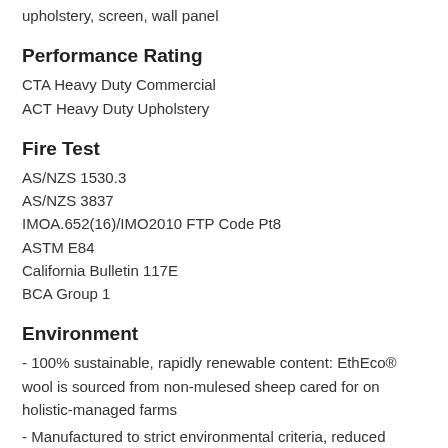upholstery, screen, wall panel
Performance Rating
CTA Heavy Duty Commercial
ACT Heavy Duty Upholstery
Fire Test
AS/NZS 1530.3
AS/NZS 3837
IMOA.652(16)/IMO2010 FTP Code Pt8
ASTM E84
California Bulletin 117E
BCA Group 1
Environment
- 100% sustainable, rapidly renewable content: EthEco® wool is sourced from non-mulesed sheep cared for on holistic-managed farms
- Manufactured to strict environmental criteria, reduced water energy use, reuse of water, recycling of waste, no hazardous substances
- Wool absorbs indoor air contaminants, benefiting indoor air